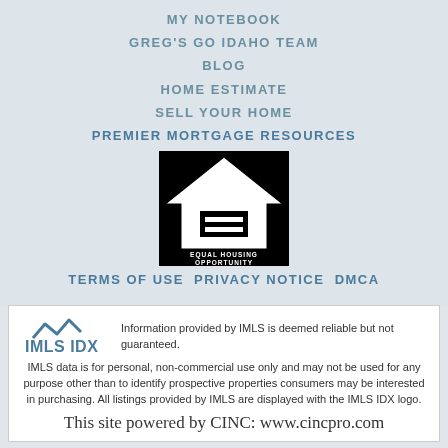MY NOTEBOOK
GREG'S GO IDAHO TEAM
BLOG
HOME ESTIMATE
SELL YOUR HOME
PREMIER MORTGAGE RESOURCES
[Figure (logo): Equal Housing Opportunity logo — white house icon with equal sign on black background, text EQUAL HOUSING OPPORTUNITY]
TERMS OF USE PRIVACY NOTICE DMCA
[Figure (logo): IMLS IDX logo with mountain peaks above text]
Information provided by IMLS is deemed reliable but not guaranteed. IMLS data is for personal, non-commercial use only and may not be used for any purpose other than to identify prospective properties consumers may be interested in purchasing. All listings provided by IMLS are displayed with the IMLS IDX logo.
This site powered by CINC: www.cincpro.com